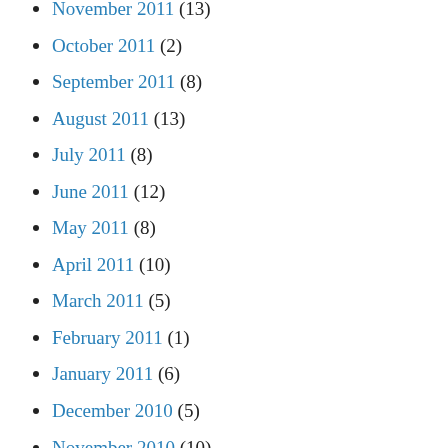November 2011 (13)
October 2011 (2)
September 2011 (8)
August 2011 (13)
July 2011 (8)
June 2011 (12)
May 2011 (8)
April 2011 (10)
March 2011 (5)
February 2011 (1)
January 2011 (6)
December 2010 (5)
November 2010 (10)
October 2010 (3)
September 2010 (3)
August 2010 (3)
July 2010 (1)